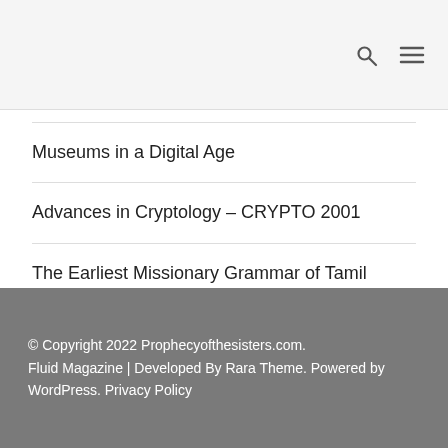Museums in a Digital Age
Advances in Cryptology – CRYPTO 2001
The Earliest Missionary Grammar of Tamil
The Love of Art
Becoming Mobius
© Copyright 2022 Prophecyofthesisters.com. Fluid Magazine | Developed By Rara Theme. Powered by WordPress. Privacy Policy